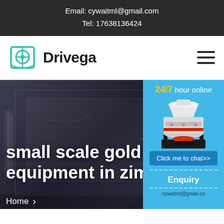Email: cywaitml@gmail.com
Tel: 17638136424
[Figure (logo): Drivega logo: teal book icon with steering wheel, bold black text 'Drivega']
[Figure (screenshot): Hero section with dark blurred background showing a computer monitor, large white text reading 'small scale gold m... equipment in zim...', and a blue sidebar panel on the right showing '24/7 hour online', an industrial crusher machine image, 'Click me to chat>>' button, 'Enquiry' label, and partial email address]
small scale gold m equipment in zim
24/7 hour online
Click me to chat>>
Enquiry
Home
cywaitml@gmail.com